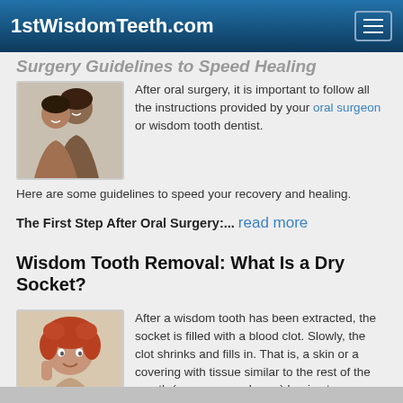1stWisdomTeeth.com
Surgery Guidelines to Speed Healing
[Figure (photo): Two smiling women posing together]
After oral surgery, it is important to follow all the instructions provided by your oral surgeon or wisdom tooth dentist.

Here are some guidelines to speed your recovery and healing.
The First Step After Oral Surgery:... read more
Wisdom Tooth Removal: What Is a Dry Socket?
[Figure (photo): Smiling woman with curly red hair touching her cheek]
After a wisdom tooth has been extracted, the socket is filled with a blood clot. Slowly, the clot shrinks and fills in. That is, a skin or a covering with tissue similar to the rest of the mouth (mucous membrane) begins to cover the clot and the tissue... read more